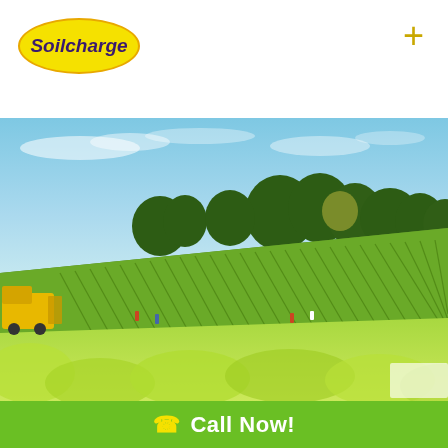[Figure (logo): Soilcharge company logo: yellow oval with dark purple italic bold text 'Soilcharge']
[Figure (photo): Aerial/ground-level view of a vineyard on a hillside with neatly planted rows of grapevines, workers in the rows, a yellow harvesting machine on the left, green trees on the hilltop, and blue sky with light clouds in the background]
Call Now!